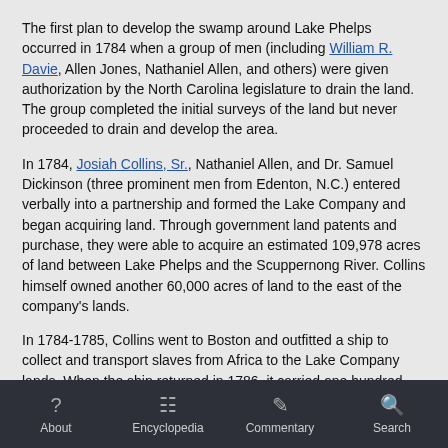The first plan to develop the swamp around Lake Phelps occurred in 1784 when a group of men (including William R. Davie, Allen Jones, Nathaniel Allen, and others) were given authorization by the North Carolina legislature to drain the land.  The group completed the initial surveys of the land but never proceeded to drain and develop the area.
In 1784, Josiah Collins, Sr., Nathaniel Allen, and Dr. Samuel Dickinson (three prominent men from Edenton, N.C.) entered verbally into a partnership and formed the Lake Company and began acquiring land. Through government land patents and purchase, they were able to acquire an estimated 109,978 acres of land between Lake Phelps and the Scuppernong River.  Collins himself owned another 60,000 acres of land to the east of the company's lands.
In 1784-1785, Collins went to Boston and outfitted a ship to collect and transport slaves from Africa to the Lake Company lands.  When the ship returned in 1786, it carried one hundred slaves who were put to work digging a canal between Lake Phelps and the Scuppernong River.  The six-mile-long canal was completed in 1788 at a cost of $30,000.  In 1787 the North Carolina House of Commons authorized the Lake Company to drain and use the land around Lake Phelps in Tyrell County and Washington County.
After the completion of the canal, the slaves were put to work digging cross ditches, extracting timber, farming the land, and building the infrastructure. By 1790, the Lake Company owned 113 slaves, and by 1794, the Lake Company operated two sawmills,
About  Encyclopedia  Commentary  Search